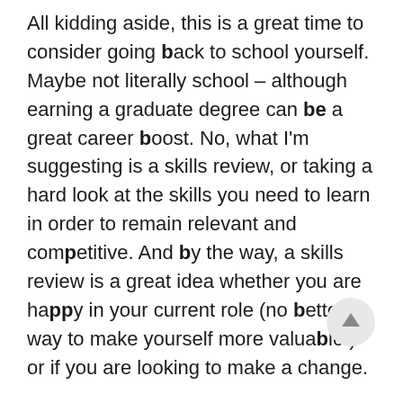All kidding aside, this is a great time to consider going back to school yourself. Maybe not literally school – although earning a graduate degree can be a great career boost. No, what I'm suggesting is a skills review, or taking a hard look at the skills you need to learn in order to remain relevant and competitive. And by the way, a skills review is a great idea whether you are happy in your current role (no better way to make yourself more valuable!) or if you are looking to make a change.
In today's highly competitive business environment, we all need to